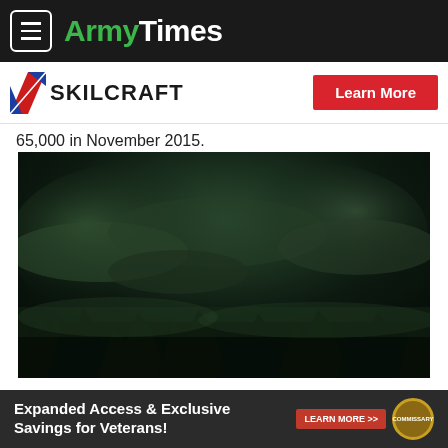ArmyTimes
[Figure (logo): SKILCRAFT logo with diagonal stripe and Learn More button]
65,000 in November 2015.
[Figure (photo): Dark jungle scene with dramatic cloudy sky and silhouetted palm trees]
[Figure (infographic): Bottom ad banner: Expanded Access & Exclusive Savings for Veterans! LEARN MORE >> Commissary badge]